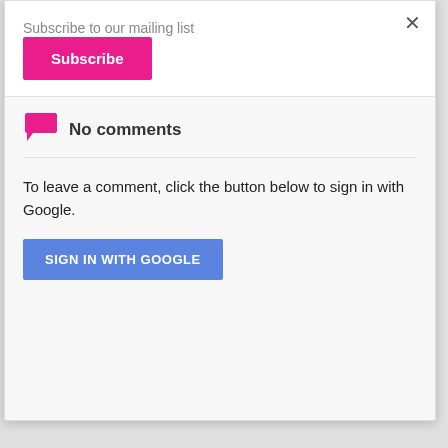Subscribe to our mailing list
[Figure (other): Subscribe button — hot pink/magenta rounded rectangle with white bold text 'Subscribe']
[Figure (other): Close button (×) in top right corner of modal]
No comments
To leave a comment, click the button below to sign in with Google.
[Figure (other): Blue button with white uppercase text 'SIGN IN WITH GOOGLE']